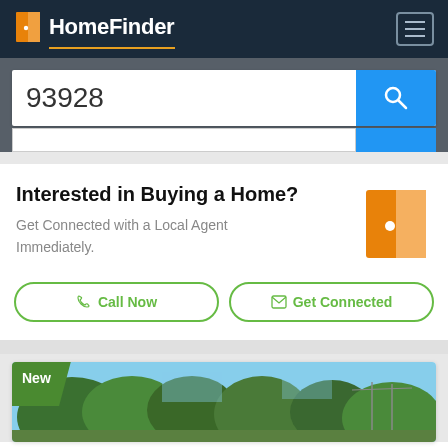HomeFinder
93928
Interested in Buying a Home?
Get Connected with a Local Agent Immediately.
Call Now
Get Connected
[Figure (photo): Property listing photo showing trees and blue sky with a New badge overlay]